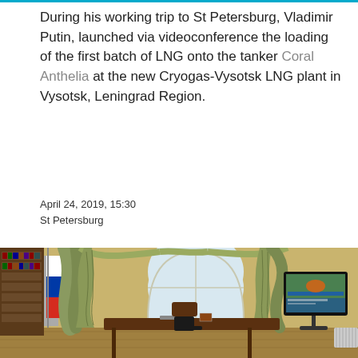During his working trip to St Petersburg, Vladimir Putin, launched via videoconference the loading of the first batch of LNG onto the tanker Coral Anthelia at the new Cryogas-Vysotsk LNG plant in Vysotsk, Leningrad Region.
April 24, 2019, 15:30
St Petersburg
[Figure (photo): Vladimir Putin seated at a desk in an ornate room with yellow walls and large arched window with green and gold drapes, a Russian flag to his left, watching a monitor/TV screen on a stand to his right showing an aerial image.]